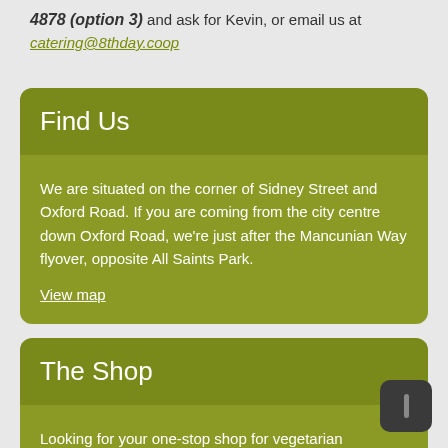4878 (option 3) and ask for Kevin, or email us at catering@8thday.coop
Find Us
We are situated on the corner of Sidney Street and Oxford Road. If you are coming from the city centre down Oxford Road, we're just after the Mancunian Way flyover, opposite All Saints Park.
View map
The Shop
Looking for your one-stop shop for vegetarian produce? Then look no further, we stock over